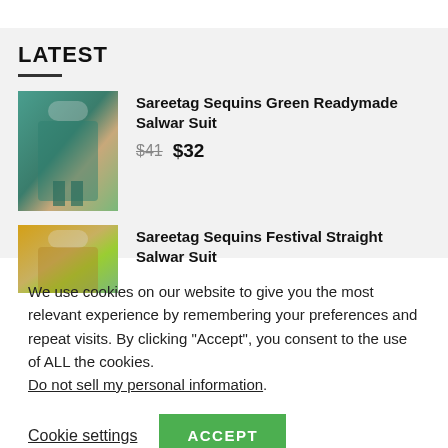LATEST
[Figure (photo): Product photo of Sareetag Sequins Green Readymade Salwar Suit — a teal/green salwar suit on a model]
Sareetag Sequins Green Readymade Salwar Suit $41 $32
[Figure (photo): Product photo of Sareetag Sequins Festival Straight Salwar Suit — partial view of a yellow salwar suit on a model]
Sareetag Sequins Festival Straight Salwar Suit
We use cookies on our website to give you the most relevant experience by remembering your preferences and repeat visits. By clicking “Accept”, you consent to the use of ALL the cookies. Do not sell my personal information.
Cookie settings   ACCEPT